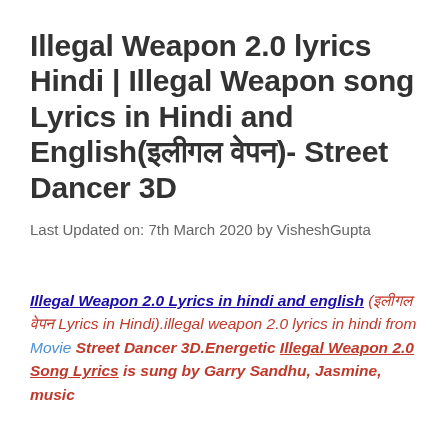Illegal Weapon 2.0 lyrics Hindi | Illegal Weapon song Lyrics in Hindi and English(इलीगल वेपन)- Street Dancer 3D
Last Updated on: 7th March 2020 by VisheshGupta
Illegal Weapon 2.0 Lyrics in hindi and english (इलीगल वेपन Lyrics in Hindi).illegal weapon 2.0 lyrics in hindi from Movie Street Dancer 3D.Energetic Illegal Weapon 2.0 Song Lyrics is sung by Garry Sandhu, Jasmine, music